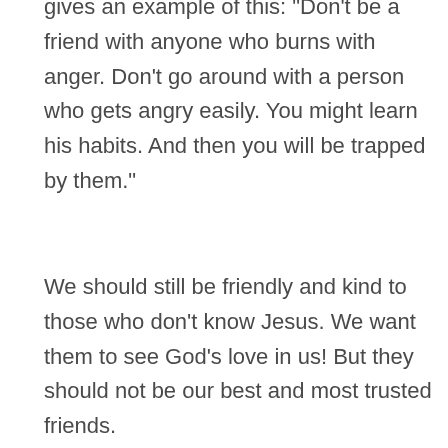gives an example of this: "Don't be a friend with anyone who burns with anger. Don't go around with a person who gets angry easily. You might learn his habits. And then you will be trapped by them."
We should still be friendly and kind to those who don't know Jesus. We want them to see God's love in us! But they should not be our best and most trusted friends.